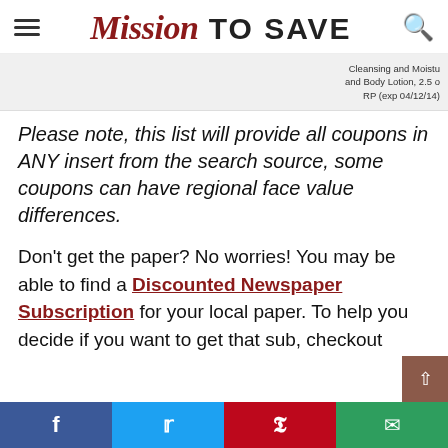Mission TO SAVE
[Figure (other): Partial coupon strip image showing text: Cleansing and Moistu... and Body Lotion, 2.5 o... RP (exp 04/12/14)]
Please note, this list will provide all coupons in ANY insert from the search source, some coupons can have regional face value differences.
Don't get the paper? No worries! You may be able to find a Discounted Newspaper Subscription for your local paper. To help you decide if you want to get that sub, checkout
f  t  p  email social share bar